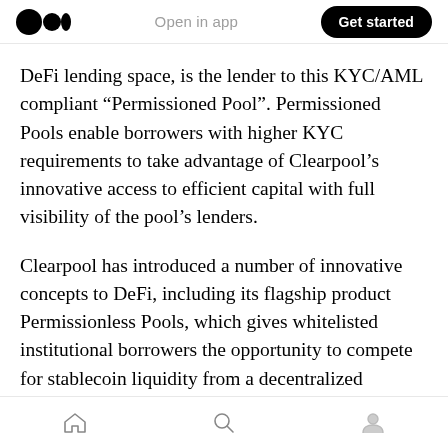Medium app header — Open in app | Get started
DeFi lending space, is the lender to this KYC/AML compliant “Permissioned Pool”. Permissioned Pools enable borrowers with higher KYC requirements to take advantage of Clearpool’s innovative access to efficient capital with full visibility of the pool’s lenders.
Clearpool has introduced a number of innovative concepts to DeFi, including its flagship product Permissionless Pools, which gives whitelisted institutional borrowers the opportunity to compete for stablecoin liquidity from a decentralized network of both retail and
Home | Search | Profile